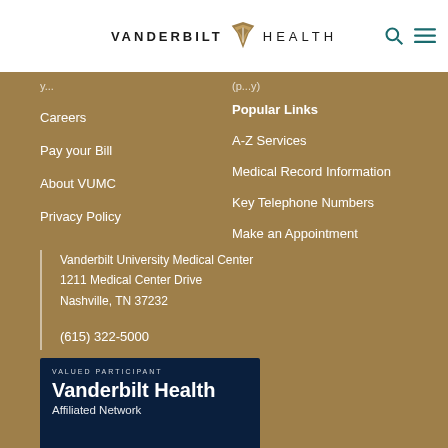VANDERBILT HEALTH
Careers
Pay your Bill
About VUMC
Privacy Policy
Popular Links
A-Z Services
Medical Record Information
Key Telephone Numbers
Make an Appointment
Vanderbilt University Medical Center
1211 Medical Center Drive
Nashville, TN 37232
(615) 322-5000
[Figure (logo): VALUED PARTICIPANT - Vanderbilt Health Affiliated Network badge with colored bar at bottom]